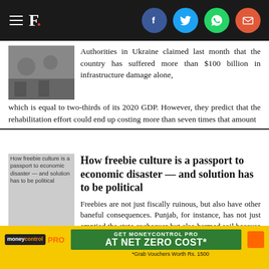F.
Authorities in Ukraine claimed last month that the country has suffered more than $100 billion in infrastructure damage alone, which is equal to two-thirds of its 2020 GDP. However, they predict that the rehabilitation effort could end up costing more than seven times that amount
[Figure (photo): Photo of soldiers or workers amid rubble in Ukraine]
How freebie culture is a passport to economic disaster — and solution has to be political
[Figure (photo): Thumbnail image for article: How freebie culture is a passport to economic disaster — and solution has to be political]
Freebies are not just fiscally ruinous, but also have other baneful consequences. Punjab, for instance, has not just emptied the state exchequer but also harmed soil because excessive groundwater is drawn using electric tube-wells
GET MONEYCONTROL PRO AT NET ZERO COST* *Grab Vouchers Worth Rs. 1500